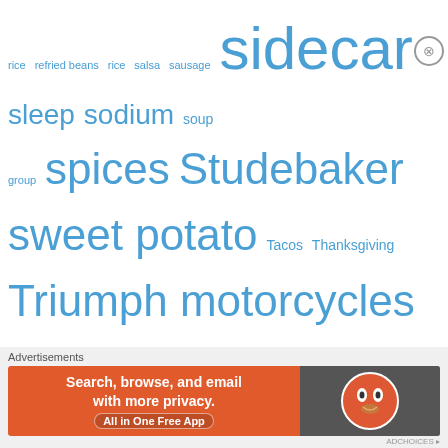rice refried beans rice salsa sausage sidecar sleep sodium soup group spices Studebaker sweet potato Tacos Thanksgiving Triumph motorcycles Triumph Scrambler tuna casserole turkey turkey casserole turkey necks turkey stock turtles Ural sidecar
Follow Blog via Email
Enter your email address to follow this blog and receive notifications of new posts by email.
Enter your email address
Follow
Advertisements
[Figure (infographic): DuckDuckGo advertisement banner: orange background with text 'Search, browse, and email with more privacy. All in One Free App' and DuckDuckGo logo on dark background to the right.]